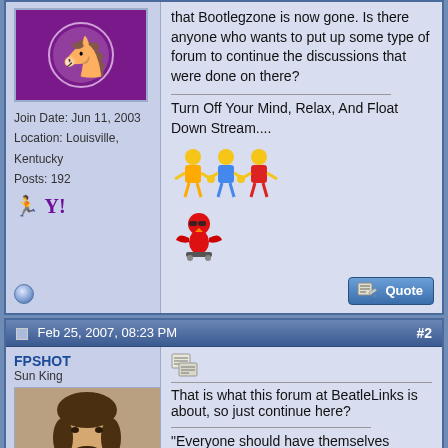Join Date: Jun 11, 2003
Location: Louisville, Kentucky
Posts: 192
that Bootlegzone is now gone. Is there anyone who wants to put up some type of forum to continue the discussions that were done on there?
Turn Off Your Mind, Relax, And Float Down Stream....
Feb 25, 2007, 08:23 PM  #2
FPSHOT
Sun King
That is what this forum at BeatleLinks is about, so just continue here?
"Everyone should have themselves regularly overwhelmed by Nature"
- George Harrison
Join Date: Aug 04, 2000
Location: The Netherlands
Posts: 31,563